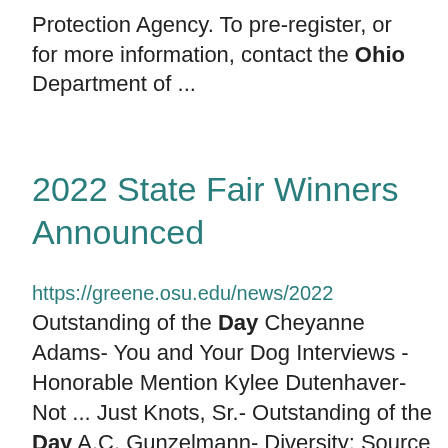Protection Agency. To pre-register, or for more information, contact the Ohio Department of ...
2022 State Fair Winners Announced
https://greene.osu.edu/news/2022
Outstanding of the Day Cheyanne Adams- You and Your Dog Interviews - Honorable Mention Kylee Dutenhaver- Not ... Just Knots, Sr.- Outstanding of the Day A.C. Gunzelmann- Diversity: Source of Our Strength- Trophy Eva ... Moore- Quilting the Best Better- Outstanding of the Day